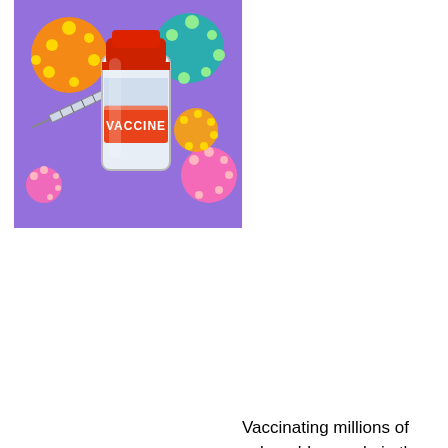[Figure (illustration): Colorful illustration of a vaccine vial labeled 'VACCINE' with a syringe, surrounded by colorful virus particles on a purple background]
Vaccinating millions of vulnerable people in the middle of winter requires a safe, efficient and effective process.
It is not safe to have queues of people waiting outside in the freezing cold.  It is not safe to have queues of people packed into an indoor waiting area.
It is not safe to have queues full stop.
And let us face it, the NHS is not brilliant at avoiding queues.